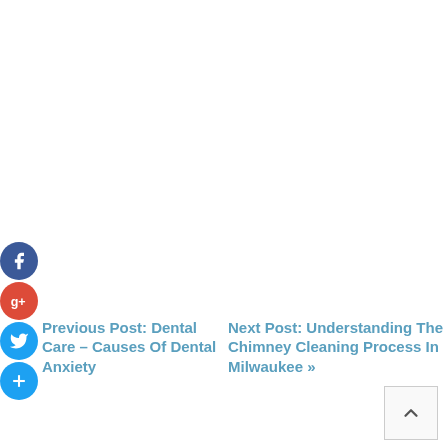[Figure (infographic): Social media share buttons: Facebook (blue circle), Google+ (red circle), Twitter (blue circle), Add/Plus (blue circle), arranged vertically on the left side of the page.]
Previous Post: Dental Care – Causes Of Dental Anxiety
Next Post: Understanding The Chimney Cleaning Process In Milwaukee »
[Figure (other): Scroll-to-top button: square box with upward chevron arrow icon, located bottom right.]